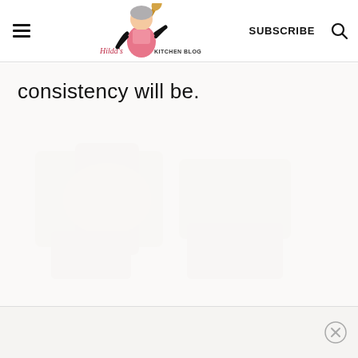Hilda's Kitchen Blog | SUBSCRIBE
consistency will be.
[Figure (photo): Faded/watermarked background image of food, very low opacity]